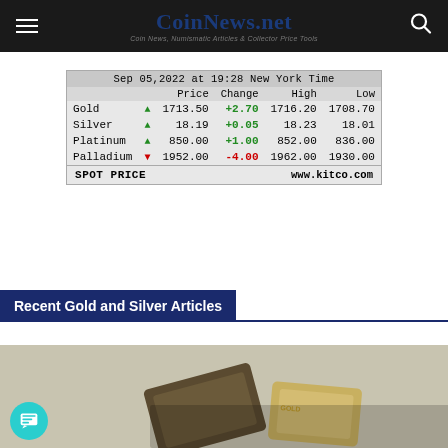CoinNews.net — Coin News, Numismatic Articles & Collector Price Tools
|  |  | Price | Change | High | Low |
| --- | --- | --- | --- | --- | --- |
| Sep 05,2022 at 19:28 New York Time |  |  |  |  |  |
| Gold | ▲ | 1713.50 | +2.70 | 1716.20 | 1708.70 |
| Silver | ▲ | 18.19 | +0.05 | 18.23 | 18.01 |
| Platinum | ▲ | 850.00 | +1.00 | 852.00 | 836.00 |
| Palladium | ▼ | 1952.00 | -4.00 | 1962.00 | 1930.00 |
Recent Gold and Silver Articles
[Figure (photo): Gold and silver bars/coins photograph at bottom of page]